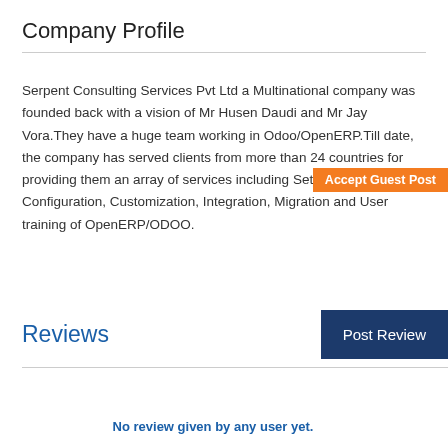Company Profile
Serpent Consulting Services Pvt Ltd a Multinational company was founded back with a vision of Mr Husen Daudi and Mr Jay Vora.They have a huge team working in Odoo/OpenERP.Till date, the company has served clients from more than 24 countries for providing them an array of services including Setting Up, Configuration, Customization, Integration, Migration and User training of OpenERP/ODOO.
[Figure (other): Orange 'Accept Guest Post' badge/button overlay on the text]
Reviews
No review given by any user yet.